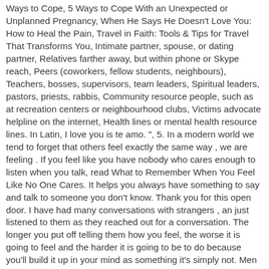Ways to Cope, 5 Ways to Cope With an Unexpected or Unplanned Pregnancy, When He Says He Doesn't Love You: How to Heal the Pain, Travel in Faith: Tools & Tips for Travel That Transforms You, Intimate partner, spouse, or dating partner, Relatives farther away, but within phone or Skype reach, Peers (coworkers, fellow students, neighbours), Teachers, bosses, supervisors, team leaders, Spiritual leaders, pastors, priests, rabbis, Community resource people, such as at recreation centers or neighbourhood clubs, Victims advocate helpline on the internet, Health lines or mental health resource lines. In Latin, I love you is te amo. ", 5. In a modern world we tend to forget that others feel exactly the same way , we are feeling . If you feel like you have nobody who cares enough to listen when you talk, read What to Remember When You Feel Like No One Cares. It helps you always have something to say and talk to someone you don't know. Thank you for this open door. I have had many conversations with strangers , an just listened to them as they reached out for a conversation. The longer you put off telling them how you feel, the worse it is going to feel and the harder it is going to be to do because you'll build it up in your mind as something it's simply not. Men are uncommunicative, silent and emotionally distant for reasons that aren't necessarily that difficult to figure out. I'm not an